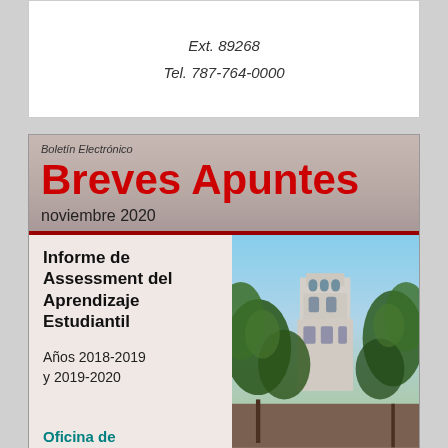Ext. 89268
Tel. 787-764-0000
Boletín Electrónico
Breves Apuntes
noviembre 2020
Informe de Assessment del Aprendizaje Estudiantil
Años 2018-2019 y 2019-2020
Oficina de
[Figure (photo): Photograph of a university tower building with trees in the foreground against a blue sky]